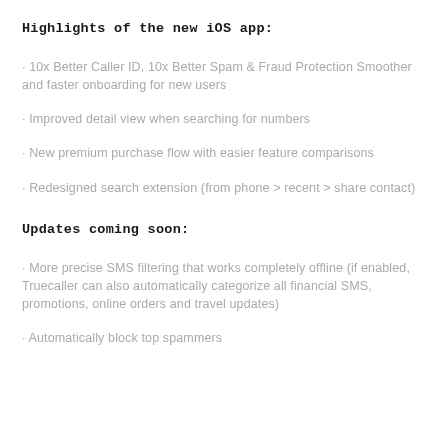Highlights of the new iOS app:
· 10x Better Caller ID, 10x Better Spam & Fraud Protection Smoother and faster onboarding for new users
· Improved detail view when searching for numbers
· New premium purchase flow with easier feature comparisons
· Redesigned search extension (from phone > recent > share contact)
Updates coming soon:
· More precise SMS filtering that works completely offline (if enabled, Truecaller can also automatically categorize all financial SMS, promotions, online orders and travel updates)
· Automatically block top spammers